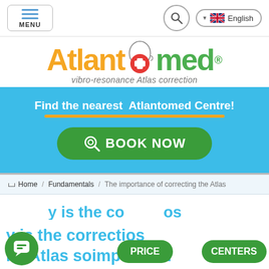[Figure (screenshot): Website header with hamburger menu button labeled MENU, a search icon button, and a language selector showing English with UK flag]
[Figure (logo): Atlanto.med logo with orange 'Atlanto' text, a circular icon with red cross, green 'med' text, registered trademark symbol, and tagline 'vibro-resonance Atlas correction']
Find the nearest  Atlantomed Centre!
[Figure (infographic): Green BOOK NOW button with magnifying glass icon on blue background]
Home / Fundamentals / The importance of correcting the Atlas
Why is the correction of the Atlas so important?